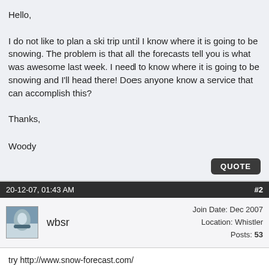Hello,

I do not like to plan a ski trip until I know where it is going to be snowing. The problem is that all the forecasts tell you is what was awesome last week. I need to know where it is going to be snowing and I'll head there! Does anyone know a service that can accomplish this?

Thanks,

Woody
20-12-07, 01:43 AM  #2
wbsr  Join Date: Dec 2007  Location: Whistler  Posts: 53
try http://www.snow-forecast.com/
it has a decent forecast, free for 3 day but if you pay it gives you a longer range, they seem to be fairly accurate too